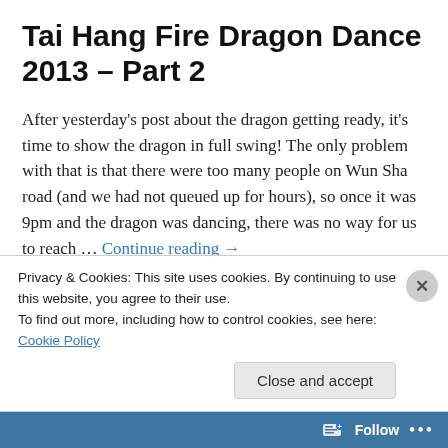Tai Hang Fire Dragon Dance 2013 – Part 2
After yesterday's post about the dragon getting ready, it's time to show the dragon in full swing! The only problem with that is that there were too many people on Wun Sha road (and we had not queued up for hours), so once it was 9pm and the dragon was dancing, there was no way for us to reach … Continue reading →
September 21, 2013   1 Reply
Privacy & Cookies: This site uses cookies. By continuing to use this website, you agree to their use.
To find out more, including how to control cookies, see here: Cookie Policy
Close and accept
Follow